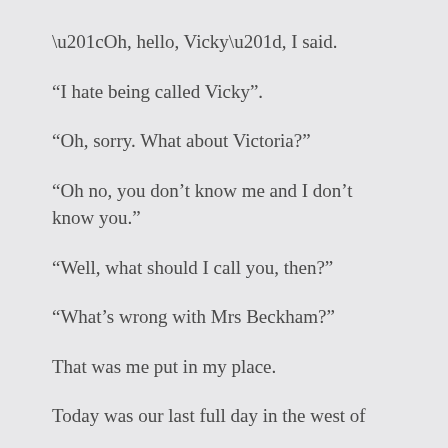“Oh, hello, Vicky”, I said.
“I hate being called Vicky”.
“Oh, sorry. What about Victoria?”
“Oh no, you don’t know me and I don’t know you.”
“Well, what should I call you, then?”
“What’s wrong with Mrs Beckham?”
That was me put in my place.
Today was our last full day in the west of